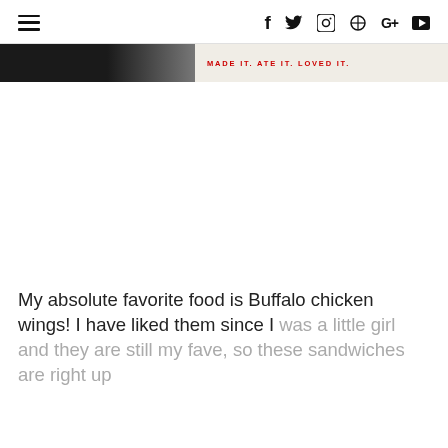≡  f  𝐲  📷  ℗  G+  ▶
[Figure (photo): Partial banner image showing dark left portion fading to light cream/beige right side with red text 'MADE IT. ATE IT. LOVED IT.']
My absolute favorite food is Buffalo chicken wings! I have liked them since I was a little girl and they are still my fave, so these sandwiches are right up